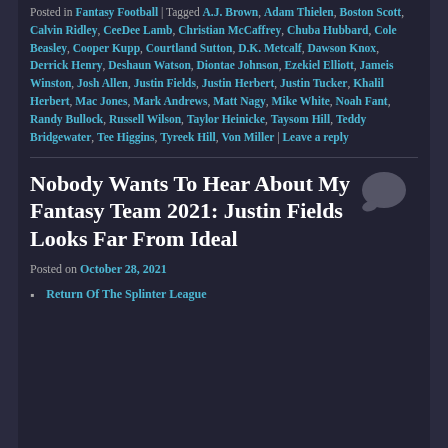Posted in Fantasy Football | Tagged A.J. Brown, Adam Thielen, Boston Scott, Calvin Ridley, CeeDee Lamb, Christian McCaffrey, Chuba Hubbard, Cole Beasley, Cooper Kupp, Courtland Sutton, D.K. Metcalf, Dawson Knox, Derrick Henry, Deshaun Watson, Diontae Johnson, Ezekiel Elliott, Jameis Winston, Josh Allen, Justin Fields, Justin Herbert, Justin Tucker, Khalil Herbert, Mac Jones, Mark Andrews, Matt Nagy, Mike White, Noah Fant, Randy Bullock, Russell Wilson, Taylor Heinicke, Taysom Hill, Teddy Bridgewater, Tee Higgins, Tyreek Hill, Von Miller | Leave a reply
Nobody Wants To Hear About My Fantasy Team 2021: Justin Fields Looks Far From Ideal
Posted on October 28, 2021
Return Of The Splinter League